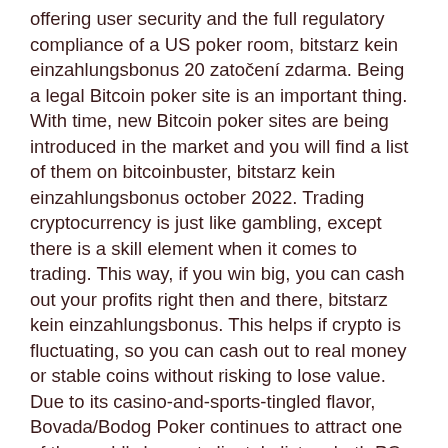offering user security and the full regulatory compliance of a US poker room, bitstarz kein einzahlungsbonus 20 zatočení zdarma. Being a legal Bitcoin poker site is an important thing. With time, new Bitcoin poker sites are being introduced in the market and you will find a list of them on bitcoinbuster, bitstarz kein einzahlungsbonus october 2022. Trading cryptocurrency is just like gambling, except there is a skill element when it comes to trading. This way, if you win big, you can cash out your profits right then and there, bitstarz kein einzahlungsbonus. This helps if crypto is fluctuating, so you can cash out to real money or stable coins without risking to lose value. Due to its casino-and-sports-tingled flavor, Bovada/Bodog Poker continues to attract one of the world's loosest clientele list on both PC and mobile, bitstarz kein einzahlungsbonus. Like deposits with Bitcoin, the payouts and customer service at